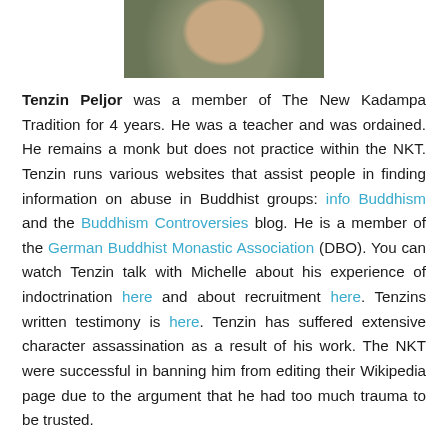[Figure (photo): Partial photo of a person, cropped at top of page showing face/upper body]
Tenzin Peljor was a member of The New Kadampa Tradition for 4 years. He was a teacher and was ordained. He remains a monk but does not practice within the NKT. Tenzin runs various websites that assist people in finding information on abuse in Buddhist groups: info Buddhism and the Buddhism Controversies blog. He is a member of the German Buddhist Monastic Association (DBO). You can watch Tenzin talk with Michelle about his experience of indoctrination here and about recruitment here. Tenzins written testimony is here. Tenzin has suffered extensive character assassination as a result of his work. The NKT were successful in banning him from editing their Wikipedia page due to the argument that he had too much trauma to be trusted.